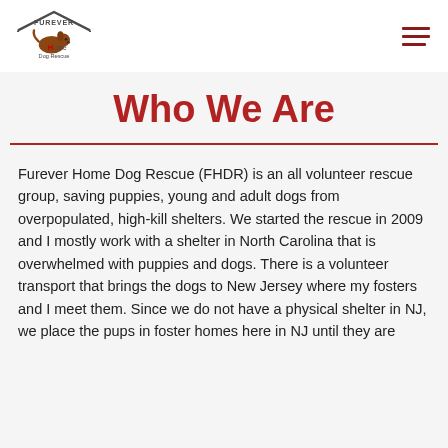Furever Home Dog Rescue logo and navigation
Who We Are
Furever Home Dog Rescue (FHDR) is an all volunteer rescue group, saving puppies, young and adult dogs from overpopulated, high-kill shelters. We started the rescue in 2009 and I mostly work with a shelter in North Carolina that is overwhelmed with puppies and dogs. There is a volunteer transport that brings the dogs to New Jersey where my fosters and I meet them. Since we do not have a physical shelter in NJ, we place the pups in foster homes here in NJ until they are